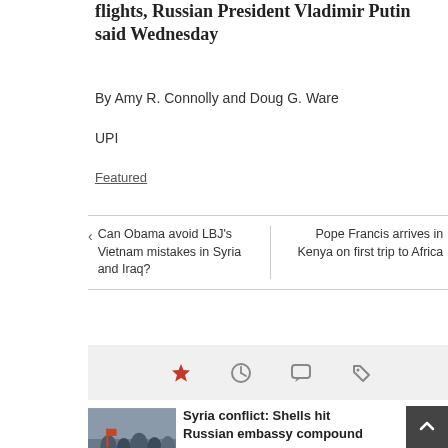flights, Russian President Vladimir Putin said Wednesday
By Amy R. Connolly and Doug G. Ware
UPI
Featured
Can Obama avoid LBJ's Vietnam mistakes in Syria and Iraq?
Pope Francis arrives in Kenya on first trip to Africa
[Figure (infographic): Icon bar with star, clock, comment, and tag icons on a light gray background]
[Figure (photo): Thumbnail photo of people gathered, likely related to Syria conflict]
Syria conflict: Shells hit Russian embassy compound
august 26, 2015